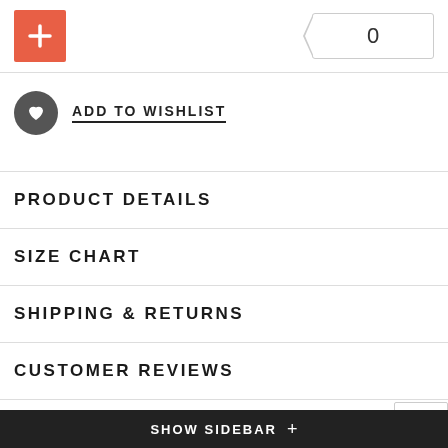[Figure (other): Red plus/add button and quantity badge showing 0]
ADD TO WISHLIST
PRODUCT DETAILS
SIZE CHART
SHIPPING & RETURNS
CUSTOMER REVIEWS
The SPARTAN GT full-face helmet benefits from SHARK's latest innovations and surpasses the limits in terms of safety and comfort. Meeting the expectations of the most demanding of riders with a Class 1 Optical visor, optimized aerodynamics, and 3D morphological cheeks. It's equipped with SHARK's emergency release and removal of the neck and cheek
SHOW SIDEBAR +